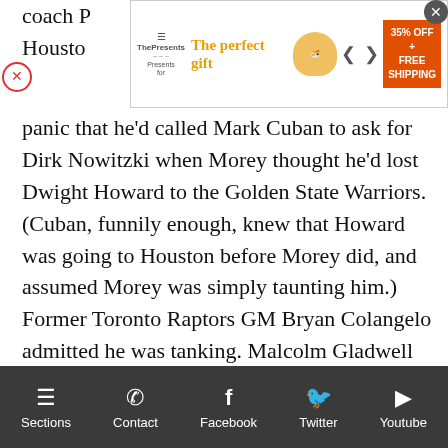coach P… eight. Houston… ment of panic that he'd called Mark Cuban to ask for Dirk Nowitzki when Morey thought he'd lost Dwight Howard to the Golden State Warriors. (Cuban, funnily enough, knew that Howard was going to Houston before Morey did, and assumed Morey was simply taunting him.) Former Toronto Raptors GM Bryan Colangelo admitted he was tanking. Malcolm Gladwell took a journalistic plunge into new NBA commissioner Adam Silver, ultimately befuddling Silver for the better part of an hour and forcing him into uncomfortable admissions of semi-guilt.

But beyond that, here's three ways Sloan related — or could relate — to the Nets:
[Figure (screenshot): Advertisement banner: The perfect gift, 35% OFF + FREE SHIPPING]
Sections  Contact  Facebook  Twitter  Youtube